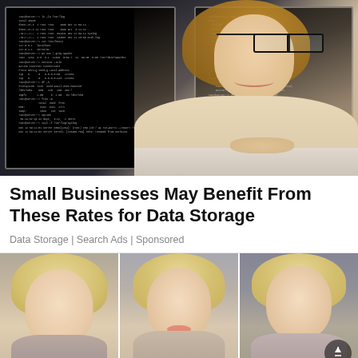[Figure (photo): Woman with glasses sitting at a desk in front of two large monitors displaying code/terminal screens, smiling at camera, wearing beige blazer]
Small Businesses May Benefit From These Rates for Data Storage
Data Storage | Search Ads | Sponsored
[Figure (photo): Three side-by-side headshots of blonde women at various events/settings]